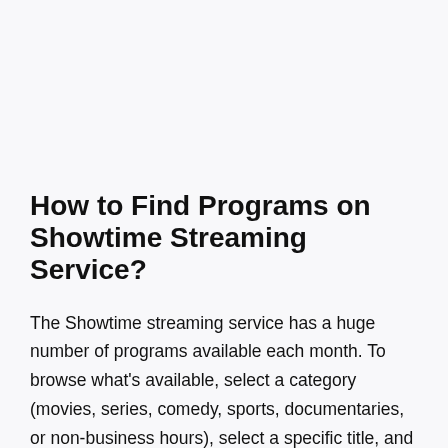[Figure (other): Image placeholder / screenshot area at top of page]
How to Find Programs on Showtime Streaming Service?
The Showtime streaming service has a huge number of programs available each month. To browse what's available, select a category (movies, series, comedy, sports, documentaries, or non-business hours), select a specific title, and complete description, cast list, rating, duration. Displays the expiration date, etc. Select "Play" to